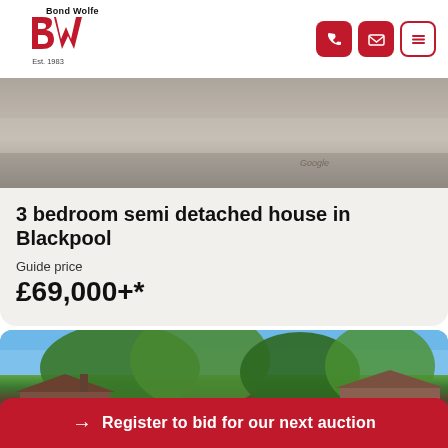[Figure (logo): Bond Wolfe logo — red BW letters with 'Bond Wolfe' text above and 'Est. 1983' below]
[Figure (photo): Street-level photo showing road/pavement from above]
3 bedroom semi detached house in Blackpool
Guide price
£69,000+*
[Figure (photo): Exterior photo of a semi-detached house with trees and blue sky]
→ Register to bid for our next auction